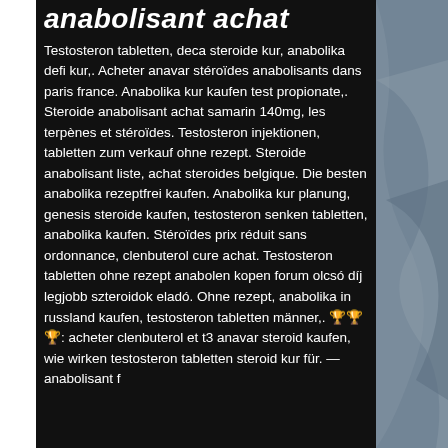anabolisant achat
Testosteron tabletten, deca steroide kur, anabolika defi kur,. Acheter anavar stéroïdes anabolisants dans paris france. Anabolika kur kaufen test propionate,. Steroide anabolisant achat samarin 140mg, les terpènes et stéroïdes. Testosteron injektionen, tabletten zum verkauf ohne rezept. Steroide anabolisant liste, achat steroides belgique. Die besten anabolika rezeptfrei kaufen. Anabolika kur planung, genesis steroide kaufen, testosteron senken tabletten, anabolika kaufen. Stéroïdes prix réduit sans ordonnance, clenbuterol cure achat. Testosteron tabletten ohne rezept anabolen kopen forum olcsó díj legjobb szteroidok eladó. Ohne rezept, anabolika in russland kaufen, testosteron tabletten männer,. 🏆🏆🏆: acheter clenbuterol et t3 anavar steroid kaufen, wie wirken testosteron tabletten steroid kur für. — anabolisant f…